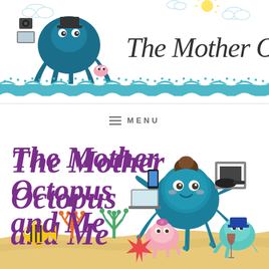[Figure (logo): The Mother Octopus blog header with octopus mascot holding various objects, clouds, sun, and wave decoration at bottom. Script text reads 'The Mother Octopus'.]
≡ MENU
[Figure (illustration): Illustrated scene titled 'The Mother Octopus and Me' in purple italic script, with a large teal octopus holding phone, laptop, and picture frame, surrounded by smaller sea characters, coral, starfish, tropical fish, and sandy ocean floor background.]